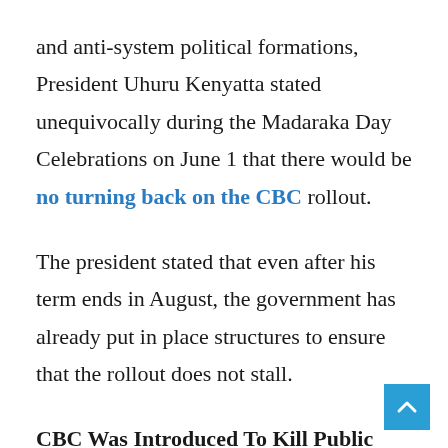and anti-system political formations, President Uhuru Kenyatta stated unequivocally during the Madaraka Day Celebrations on June 1 that there would be no turning back on the CBC rollout.
The president stated that even after his term ends in August, the government has already put in place structures to ensure that the rollout does not stall.
CBC Was Introduced To Kill Public